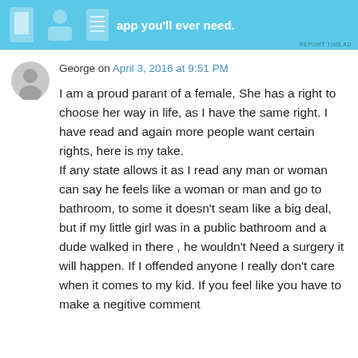[Figure (other): Advertisement banner with light blue background, icons on left and text 'app you'll ever need.' on right, with REPORT THIS AD label]
George on April 3, 2016 at 9:51 PM
I am a proud parant of a female, She has a right to choose her way in life, as I have the same right. I have read and again more people want certain rights, here is my take.
If any state allows it as I read any man or woman can say he feels like a woman or man and go to bathroom, to some it doesn't seam like a big deal, but if my little girl was in a public bathroom and a dude walked in there , he wouldn't Need a surgery it will happen. If I offended anyone I really don't care when it comes to my kid. If you feel like you have to make a negitive comment